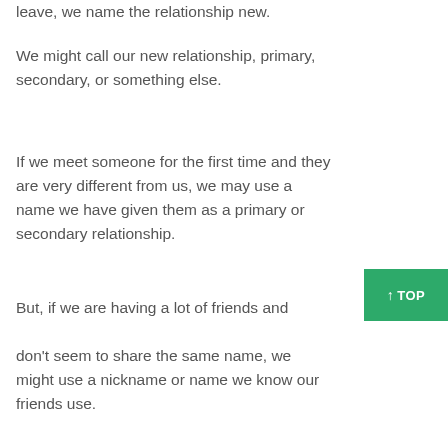leave, we name the relationship new.
We might call our new relationship, primary, secondary, or something else.
If we meet someone for the first time and they are very different from us, we may use a name we have given them as a primary or secondary relationship.
But, if we are having a lot of friends and don’t seem to share the same name, we might use a nickname or name we know our friends use.